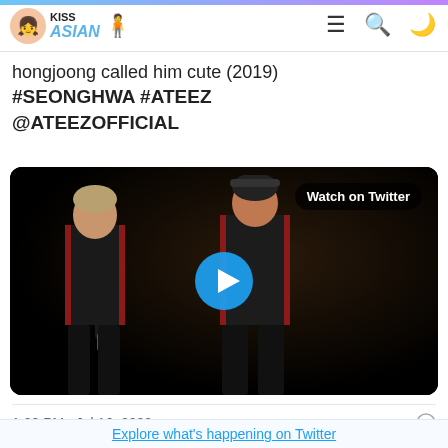KISS ASIAN
hongjoong called him cute (2019) #SEONGHWA #ATEEZ @ATEEZOFFICIAL
[Figure (screenshot): Embedded Twitter video thumbnail showing two performers in black and red uniforms on a dark stage, with a blue play button in the center and 'Watch on Twitter' badge in the top right.]
1:08 PM · Jul 16, 2020
261  Reply  Copy link
Explore what's happening on Twitter